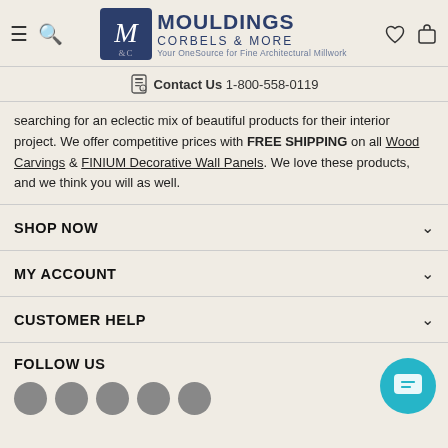Mouldings Corbels & More — Your OneSource for Fine Architectural Millwork
Contact Us  1-800-558-0119
searching for an eclectic mix of beautiful products for their interior project. We offer competitive prices with FREE SHIPPING on all Wood Carvings & FINIUM Decorative Wall Panels. We love these products, and we think you will as well.
SHOP NOW
MY ACCOUNT
CUSTOMER HELP
FOLLOW US